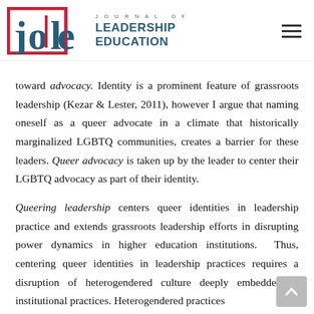Journal of Leadership Education
toward advocacy. Identity is a prominent feature of grassroots leadership (Kezar & Lester, 2011), however I argue that naming oneself as a queer advocate in a climate that historically marginalized LGBTQ communities, creates a barrier for these leaders. Queer advocacy is taken up by the leader to center their LGBTQ advocacy as part of their identity.
Queering leadership centers queer identities in leadership practice and extends grassroots leadership efforts in disrupting power dynamics in higher education institutions. Thus, centering queer identities in leadership practices requires a disruption of heterogendered culture deeply embedded in institutional practices. Heterogendered practices